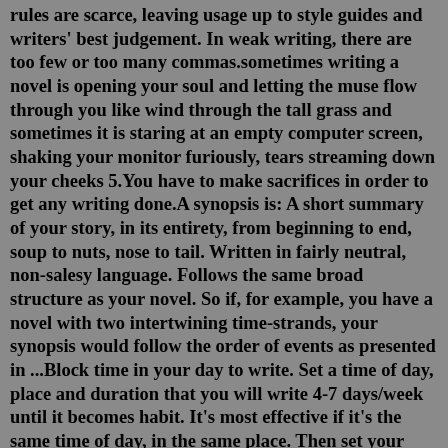rules are scarce, leaving usage up to style guides and writers' best judgement. In weak writing, there are too few or too many commas.sometimes writing a novel is opening your soul and letting the muse flow through you like wind through the tall grass and sometimes it is staring at an empty computer screen, shaking your monitor furiously, tears streaming down your cheeks 5.You have to make sacrifices in order to get any writing done.A synopsis is: A short summary of your story, in its entirety, from beginning to end, soup to nuts, nose to tail. Written in fairly neutral, non-salesy language. Follows the same broad structure as your novel. So if, for example, you have a novel with two intertwining time-strands, your synopsis would follow the order of events as presented in ...Block time in your day to write. Set a time of day, place and duration that you will write 4-7 days/week until it becomes habit. It's most effective if it's the same time of day, in the same place. Then set your duration to a number of minutes or a number of